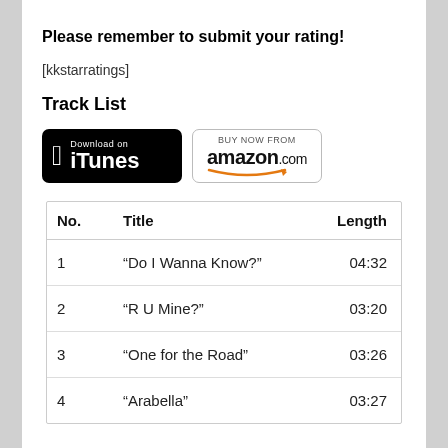Please remember to submit your rating!
[kkstarratings]
Track List
[Figure (logo): Download on iTunes badge (black) and Buy Now From Amazon.com badge (white with border)]
| No. | Title | Length |
| --- | --- | --- |
| 1 | “Do I Wanna Know?” | 04:32 |
| 2 | “R U Mine?” | 03:20 |
| 3 | “One for the Road” | 03:26 |
| 4 | “Arabella” | 03:27 |